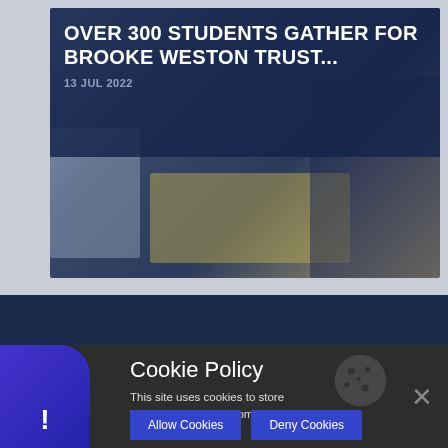[Figure (photo): News article card with dark blue overlay showing students gathering for Brooke Weston Trust event, with photo of papers/tablet on desk visible in lower portion]
OVER 300 STUDENTS GATHER FOR BROOKE WESTON TRUST...
13 JUL 2022
Cookie Policy
This site uses cookies to store information on your computer. Click here for more information